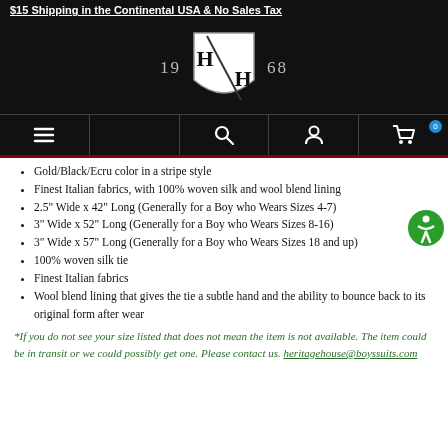$15 Shipping in the Continental USA & No Sales Tax
[Figure (logo): Heritage House logo: shield with H/H initials, flanked by years 19 and 68 in gray text on black background]
Gold/Black/Ecru color in a stripe style
Finest Italian fabrics, with 100% woven silk and wool blend lining
2.5" Wide x 42" Long (Generally for a Boy who Wears Sizes 4-7)
3" Wide x 52" Long (Generally for a Boy who Wears Sizes 8-16)
3" Wide x 57" Long (Generally for a Boy who Wears Sizes 18 and up)
100% woven silk tie
Finest Italian fabrics
Wool blend lining that gives the tie a subtle hand and the ability to bounce back to its original form after wear
*If you do not see your size listed that does not mean the item is not available. The item could be in transit or we could possibly get one. Please contact us. heritagehouse@boyssuits.com